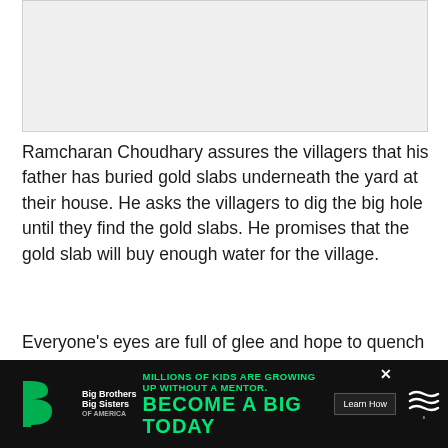[Figure (photo): Image placeholder, light gray rectangle]
Ramcharan Choudhary assures the villagers that his father has buried gold slabs underneath the yard at their house. He asks the villagers to dig the big hole until they find the gold slabs. He promises that the gold slab will buy enough water for the village.
Everyone's eyes are full of glee and hope to quench the thirst. They dig and dig until they find something... [partially visible, cut off by ad banner]
[Figure (other): Advertisement banner: Big Brothers Big Sisters logo on black background. Text: MILLIONS OF KIDS ARE GROWING UP WITHOUT A MENTOR. BECOME A BIG TODAY. Learn How button. Close X button.]